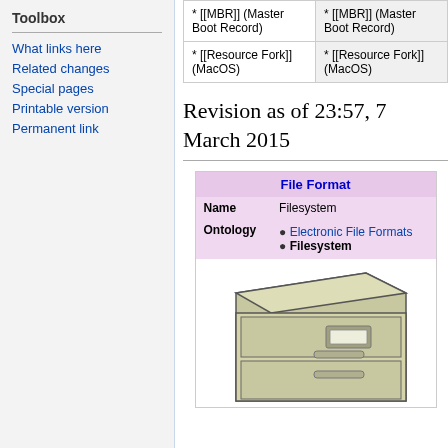Toolbox
What links here
Related changes
Special pages
Printable version
Permanent link
| * [[MBR]] (Master Boot Record) | * [[MBR]] (Master Boot Record) |
| * [[Resource Fork]] (MacOS) | * [[Resource Fork]] (MacOS) |
Revision as of 23:57, 7 March 2015
[Figure (illustration): File Format infobox showing Name: Filesystem, Ontology: Electronic File Formats, Filesystem. Below is an illustration of a filing cabinet.]